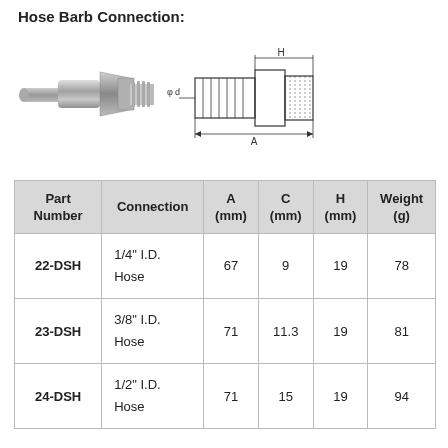Hose Barb Connection:
[Figure (engineering-diagram): Engineering diagram showing a hose barb connection fitting. Left side shows a 3D rendered photo of the fitting. Right side shows a dimensioned technical drawing with labels H (height), C (diameter, marked as φd), and A (length).]
| Part Number | Connection | A (mm) | C (mm) | H (mm) | Weight (g) |
| --- | --- | --- | --- | --- | --- |
| 22-DSH | 1/4" I.D. Hose | 67 | 9 | 19 | 78 |
| 23-DSH | 3/8" I.D. Hose | 71 | 11.3 | 19 | 81 |
| 24-DSH | 1/2" I.D. Hose | 71 | 15 | 19 | 94 |